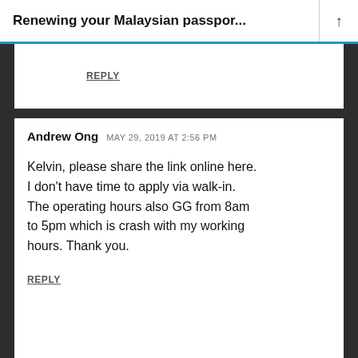Renewing your Malaysian passpor...
REPLY
Andrew Ong  MAY 29, 2019 AT 2:56 PM
Kelvin, please share the link online here. I don't have time to apply via walk-in. The operating hours also GG from 8am to 5pm which is crash with my working hours. Thank you.
REPLY